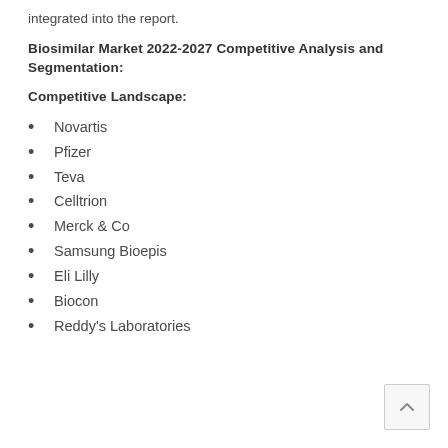integrated into the report.
Biosimilar Market 2022-2027 Competitive Analysis and Segmentation:
Competitive Landscape:
Novartis
Pfizer
Teva
Celltrion
Merck & Co
Samsung Bioepis
Eli Lilly
Biocon
Reddy's Laboratories